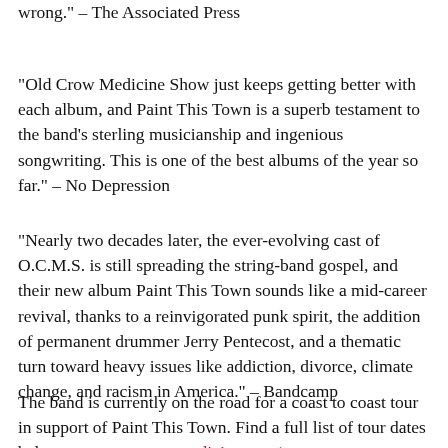wrong.” – The Associated Press
“Old Crow Medicine Show just keeps getting better with each album, and Paint This Town is a superb testament to the band’s sterling musicianship and ingenious songwriting. This is one of the best albums of the year so far.” – No Depression
“Nearly two decades later, the ever-evolving cast of O.C.M.S. is still spreading the string-band gospel, and their new album Paint This Town sounds like a mid-career revival, thanks to a reinvigorated punk spirit, the addition of permanent drummer Jerry Pentecost, and a thematic turn toward heavy issues like addiction, divorce, climate change, and racism in America.” – Bandcamp
The band is currently on the road for a coast to coast tour in support of Paint This Town. Find a full list of tour dates below or at www.crowmedicine.com/tour.